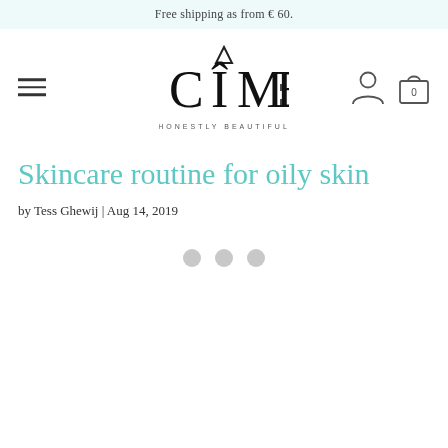Free shipping as from € 60.
[Figure (logo): CÎME HONESTLY BEAUTIFUL brand logo with hamburger menu, user icon, and cart icon]
Skincare routine for oily skin
by Tess Ghewij | Aug 14, 2019
[Figure (other): Image carousel with three navigation dots]